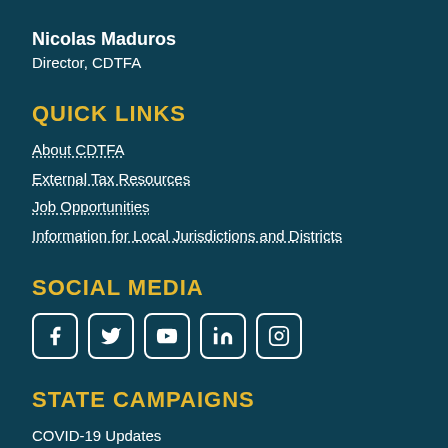Nicolas Maduros
Director, CDTFA
QUICK LINKS
About CDTFA
External Tax Resources
Job Opportunities
Information for Local Jurisdictions and Districts
SOCIAL MEDIA
[Figure (infographic): Social media icons: Facebook, Twitter, YouTube, LinkedIn, Instagram]
STATE CAMPAIGNS
COVID-19 Updates